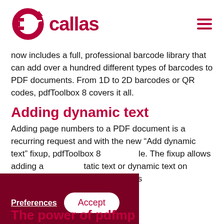[Figure (logo): Callas software logo with circular C icon in dark red and 'callas' text in dark red, plus hamburger menu icon on right]
now includes a full, professional barcode library that can add over a hundred different types of barcodes to PDF documents. From 1D to 2D barcodes or QR codes, pdfToolbox 8 covers it all.
Adding dynamic text
Adding page numbers to a PDF document is a recurring request and with the new “Add dynamic text” fixup, pdfToolbox 8… …ble. The fixup allows adding a …static text or dynamic text on …r of different fonts, colors
[Figure (other): Cookie consent overlay bar in dark red with Preferences (underlined white text) and Accept (white rounded button) buttons]
The power of pdfmp